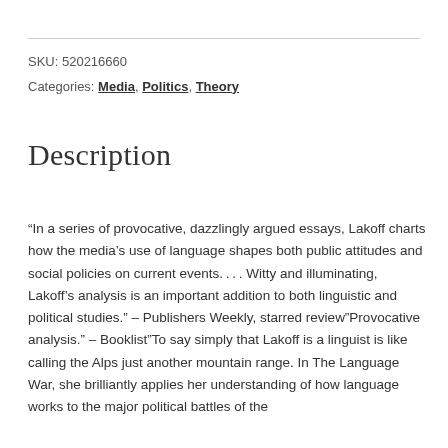SKU: 520216660
Categories: Media, Politics, Theory
Description
“In a series of provocative, dazzlingly argued essays, Lakoff charts how the media’s use of language shapes both public attitudes and social policies on current events.… Witty and illuminating, Lakoff’s analysis is an important addition to both linguistic and political studies.” – Publishers Weekly, starred review”Provocative analysis.” – Booklist”To say simply that Lakoff is a linguist is like calling the Alps just another mountain range. In The Language War, she brilliantly applies her understanding of how language works to the major political battles of the